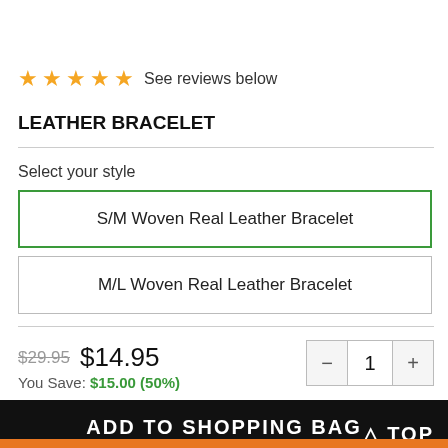★★★★★ See reviews below
LEATHER BRACELET
Select your style
S/M Woven Real Leather Bracelet
M/L Woven Real Leather Bracelet
$29.95  $14.95  You Save: $15.00 (50%)
ADD TO SHOPPING BAG